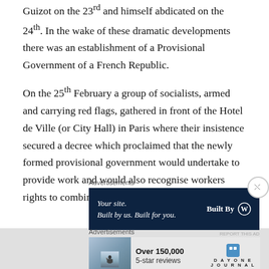Guizot on the 23rd and himself abdicated on the 24th. In the wake of these dramatic developments there was an establishment of a Provisional Government of a French Republic.
On the 25th February a group of socialists, armed and carrying red flags, gathered in front of the Hotel de Ville (or City Hall) in Paris where their insistence secured a decree which proclaimed that the newly formed provisional government would undertake to provide work and would also recognise workers rights to combine.
[Figure (other): Advertisement banner: dark navy background with text 'Your site. Built by us. Built for you.' on the left and 'Built By' with WordPress logo on the right]
[Figure (other): Advertisement banner: light background with photo of person, text 'Over 150,000 5-star reviews' and Day One Journal logo]